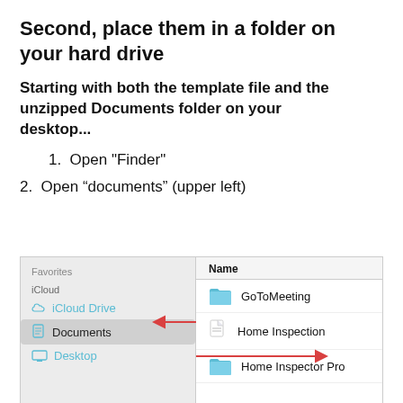Second, place them in a folder on your hard drive
Starting with both the template file and the unzipped Documents folder on your desktop...
1. Open "Finder"
2. Open “documents” (upper left)
[Figure (screenshot): Mac Finder window showing sidebar with Favorites, iCloud section (iCloud Drive, Documents selected, Desktop) on the left and main panel with Name column showing GoToMeeting folder, Home Inspection document, Home Inspector Pro folder. A red arrow points from Desktop in sidebar to Home Inspector Pro folder. Another red arrow points to Documents in sidebar.]